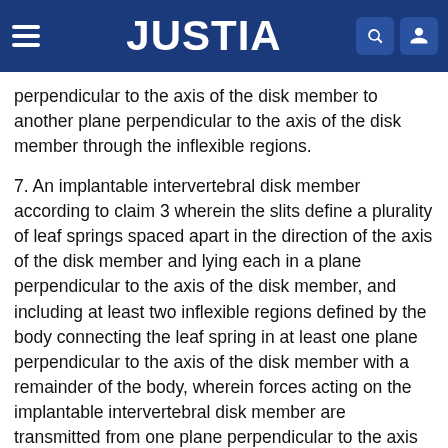JUSTIA
perpendicular to the axis of the disk member to another plane perpendicular to the axis of the disk member through the inflexible regions.
7. An implantable intervertebral disk member according to claim 3 wherein the slits define a plurality of leaf springs spaced apart in the direction of the axis of the disk member and lying each in a plane perpendicular to the axis of the disk member, and including at least two inflexible regions defined by the body connecting the leaf spring in at least one plane perpendicular to the axis of the disk member with a remainder of the body, wherein forces acting on the implantable intervertebral disk member are transmitted from one plane perpendicular to the axis of the disk member to another plane perpendicular to the axis of the disk member through the inflexible regions.